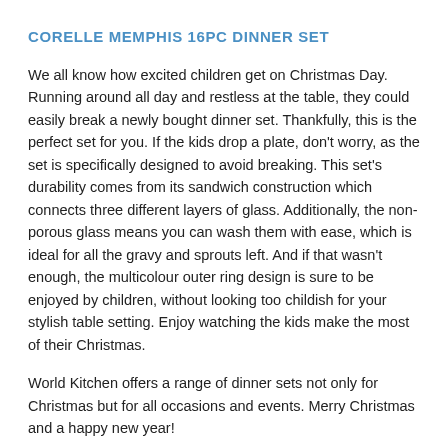CORELLE MEMPHIS 16PC DINNER SET
We all know how excited children get on Christmas Day. Running around all day and restless at the table, they could easily break a newly bought dinner set. Thankfully, this is the perfect set for you. If the kids drop a plate, don't worry, as the set is specifically designed to avoid breaking. This set's durability comes from its sandwich construction which connects three different layers of glass. Additionally, the non-porous glass means you can wash them with ease, which is ideal for all the gravy and sprouts left. And if that wasn't enough, the multicolour outer ring design is sure to be enjoyed by children, without looking too childish for your stylish table setting. Enjoy watching the kids make the most of their Christmas.
World Kitchen offers a range of dinner sets not only for Christmas but for all occasions and events. Merry Christmas and a happy new year!